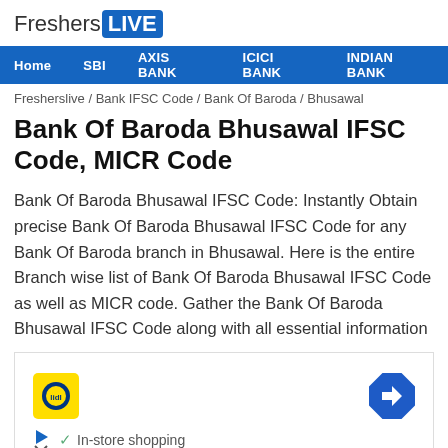FreshersLIVE
Home  SBI  AXIS BANK  ICICI BANK  INDIAN BANK
Fresherslive / Bank IFSC Code / Bank Of Baroda / Bhusawal
Bank Of Baroda Bhusawal IFSC Code, MICR Code
Bank Of Baroda Bhusawal IFSC Code: Instantly Obtain precise Bank Of Baroda Bhusawal IFSC Code for any Bank Of Baroda branch in Bhusawal. Here is the entire Branch wise list of Bank Of Baroda Bhusawal IFSC Code as well as MICR code. Gather the Bank Of Baroda Bhusawal IFSC Code along with all essential information
[Figure (other): Advertisement banner with Lidl logo, navigation arrow icon, play/close buttons, and 'In-store shopping' text]